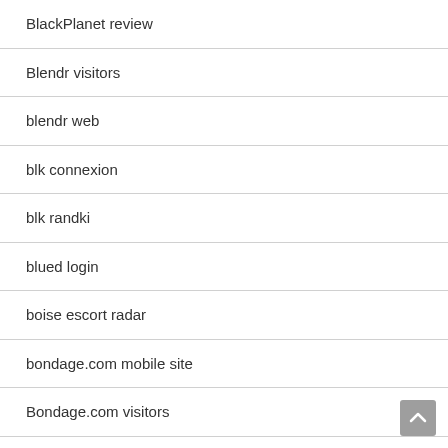BlackPlanet review
Blendr visitors
blendr web
blk connexion
blk randki
blued login
boise escort radar
bondage.com mobile site
Bondage.com visitors
bookofmatches espa?a
bookofsex gratis
bookofsex mobile site